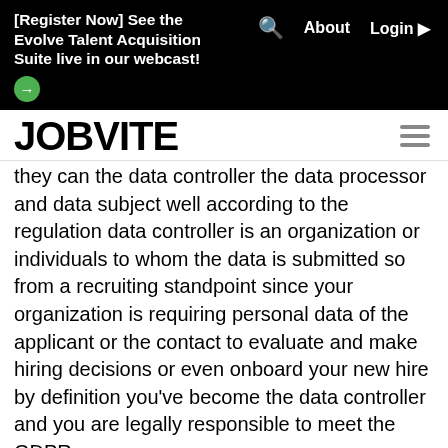[Register Now] See the Evolve Talent Acquisition Suite live in our webcast! → About Login ▶
[Figure (logo): Jobvite logo — bold black text on white background, with hamburger menu icon on the right]
they can the data controller the data processor and data subject well according to the regulation data controller is an organization or individuals to whom the data is submitted so from a recruiting standpoint since your organization is requiring personal data of the applicant or the contact to evaluate and make hiring decisions or even onboard your new hire by definition you've become the data controller and you are legally responsible to meet the GDPR